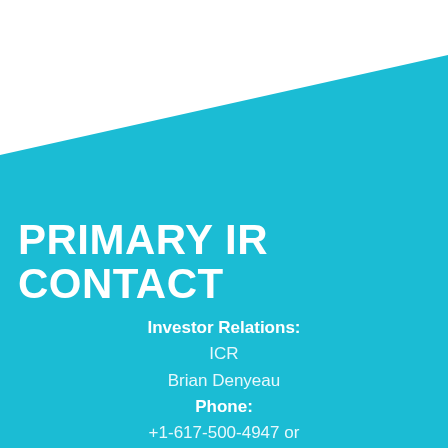PRIMARY IR CONTACT
Investor Relations:
ICR
Brian Denyeau
Phone:
+1-617-500-4947 or
1-888-882-1880
Email: